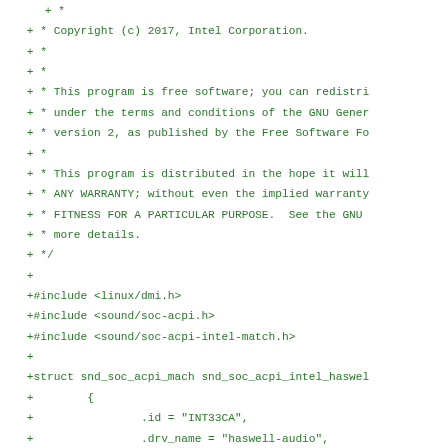+ *
+ * Copyright (c) 2017, Intel Corporation.
+ *
+ *
+ * This program is free software; you can redistri
+ * under the terms and conditions of the GNU Gener
+ * version 2, as published by the Free Software Fo
+ *
+ * This program is distributed in the hope it will
+ * ANY WARRANTY; without even the implied warranty
+ * FITNESS FOR A PARTICULAR PURPOSE.  See the GNU
+ * more details.
+ */
+
+#include <linux/dmi.h>
+#include <sound/soc-acpi.h>
+#include <sound/soc-acpi-intel-match.h>
+
+struct snd_soc_acpi_mach snd_soc_acpi_intel_haswel
+        {
+                .id = "INT33CA",
+                .drv_name = "haswell-audio",
+                .fw_filename = "intel/IntcSST1.bin"
+        },
+        {}
+};